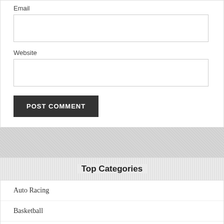Email
Website
POST COMMENT
Top Categories
Auto Racing
Basketball
Swimming
Horse Racing